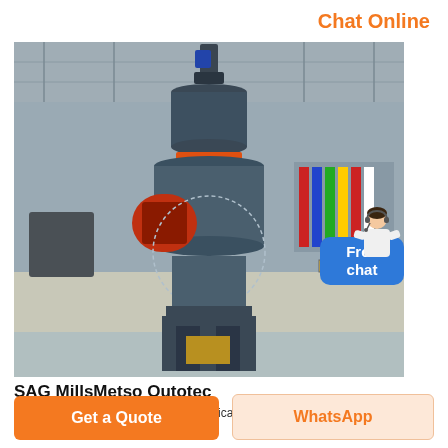Chat Online
[Figure (photo): Large industrial SAG mill machine, dark grey cylindrical tower with orange accent ring, red square inlet port, standing on a steel frame base inside a factory hall with international flags visible in the background. A chat widget with 'Free chat' overlay and a female agent figure appear on the right side of the image.]
SAG MillsMetso Outotec
Sag milling extends itself to many applications due to the range of mill sizes available